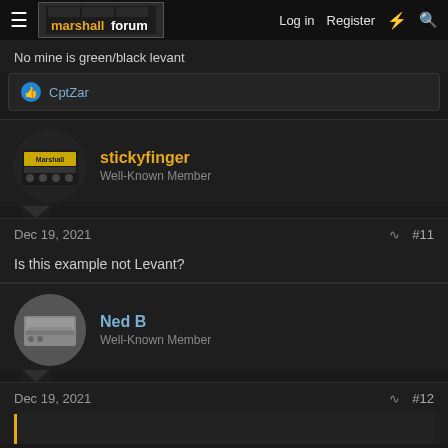marshallforum — Log in | Register
No mine is green/black levant
CptZar liked this
stickyfinger
Well-Known Member
Dec 19, 2021  #11
Is this example not Levant?
Ned B
Well-Known Member
Dec 19, 2021  #12